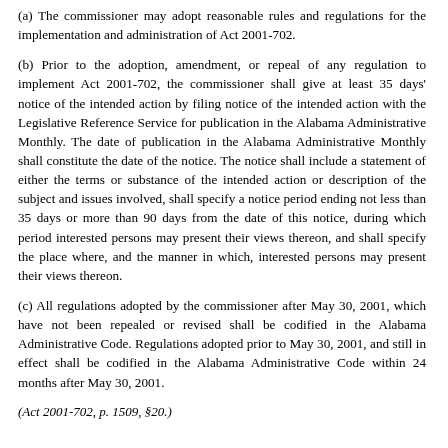(a) The commissioner may adopt reasonable rules and regulations for the implementation and administration of Act 2001-702.
(b) Prior to the adoption, amendment, or repeal of any regulation to implement Act 2001-702, the commissioner shall give at least 35 days' notice of the intended action by filing notice of the intended action with the Legislative Reference Service for publication in the Alabama Administrative Monthly. The date of publication in the Alabama Administrative Monthly shall constitute the date of the notice. The notice shall include a statement of either the terms or substance of the intended action or description of the subject and issues involved, shall specify a notice period ending not less than 35 days or more than 90 days from the date of this notice, during which period interested persons may present their views thereon, and shall specify the place where, and the manner in which, interested persons may present their views thereon.
(c) All regulations adopted by the commissioner after May 30, 2001, which have not been repealed or revised shall be codified in the Alabama Administrative Code. Regulations adopted prior to May 30, 2001, and still in effect shall be codified in the Alabama Administrative Code within 24 months after May 30, 2001.
(Act 2001-702, p. 1509, §20.)